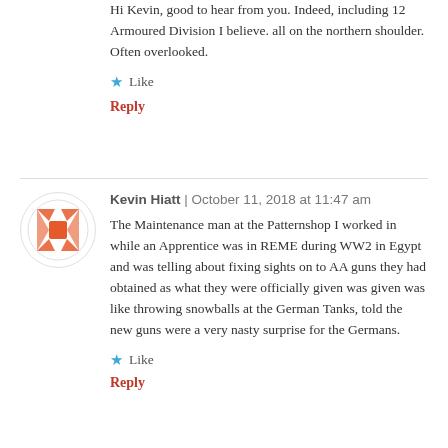Hi Kevin, good to hear from you. Indeed, including 12 Armoured Division I believe. all on the northern shoulder. Often overlooked.
★ Like
Reply
Kevin Hiatt | October 11, 2018 at 11:47 am
The Maintenance man at the Patternshop I worked in while an Apprentice was in REME during WW2 in Egypt and was telling about fixing sights on to AA guns they had obtained as what they were officially given was given was like throwing snowballs at the German Tanks, told the new guns were a very nasty surprise for the Germans.
★ Like
Reply